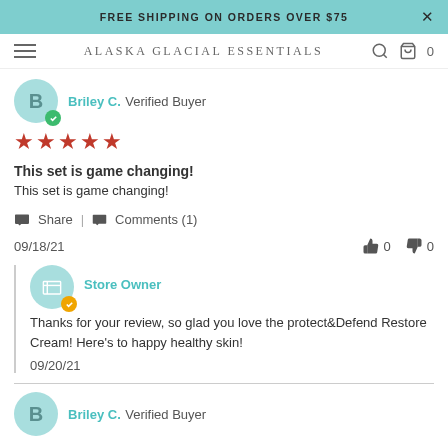FREE SHIPPING ON ORDERS OVER $75
[Figure (logo): Alaska Glacial Essentials logo with navigation icons]
Briley C. Verified Buyer
5 stars rating
This set is game changing!
This set is game changing!
Share | Comments (1)
09/18/21 thumbs up 0 thumbs down 0
Store Owner
Thanks for your review, so glad you love the protect&Defend Restore Cream! Here's to happy healthy skin!
09/20/21
Briley C. Verified Buyer